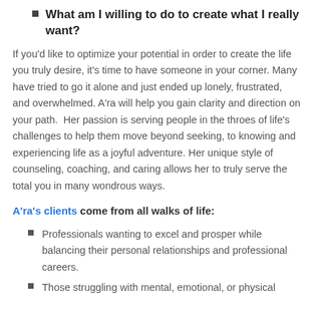What am I willing to do to create what I really want?
If you'd like to optimize your potential in order to create the life you truly desire, it's time to have someone in your corner. Many have tried to go it alone and just ended up lonely, frustrated, and overwhelmed. A'ra will help you gain clarity and direction on your path.  Her passion is serving people in the throes of life's challenges to help them move beyond seeking, to knowing and experiencing life as a joyful adventure. Her unique style of counseling, coaching, and caring allows her to truly serve the total you in many wondrous ways.
A'ra's clients come from all walks of life:
Professionals wanting to excel and prosper while balancing their personal relationships and professional careers.
Those struggling with mental, emotional, or physical